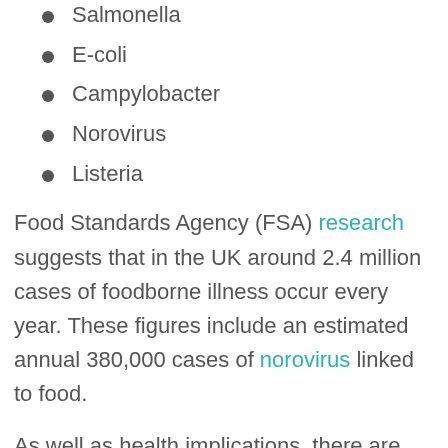Salmonella
E-coli
Campylobacter
Norovirus
Listeria
Food Standards Agency (FSA) research suggests that in the UK around 2.4 million cases of foodborne illness occur every year. These figures include an estimated annual 380,000 cases of norovirus linked to food.
As well as health implications, there are serious business implications for outbreaks of food poisoning.
A business's reputation may be permanently damaged, and, if it is found to be non-compliant,